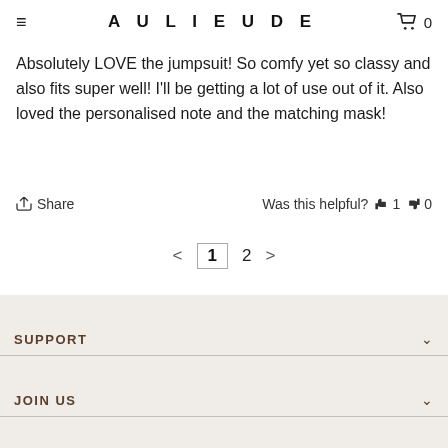AULIEUDE  0
Absolutely LOVE the jumpsuit! So comfy yet so classy and also fits super well! I'll be getting a lot of use out of it. Also loved the personalised note and the matching mask!
Share  |  Was this helpful?  1  0
< 1 2 >
SUPPORT
JOIN US